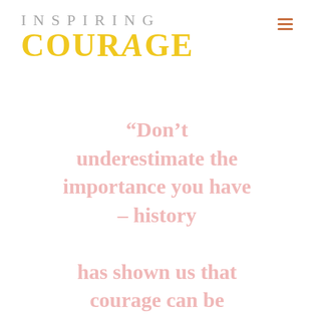INSPIRING COURAGE
“Don’t underestimate the importance you have – history has shown us that courage can be contagious.”
Michelle Obama